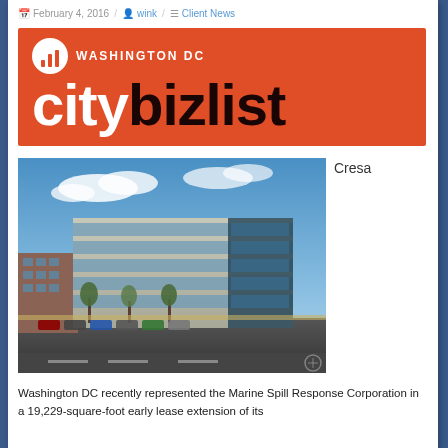February 4, 2016 / wink / Client News
[Figure (logo): Washington DC citybizlist logo — orange background with white bar chart icon and white/dark text]
[Figure (photo): Exterior photo of a multi-story office building with glass facade and parking lot under blue sky]
Cresa
Washington DC recently represented the Marine Spill Response Corporation in a 19,229-square-foot early lease extension of its